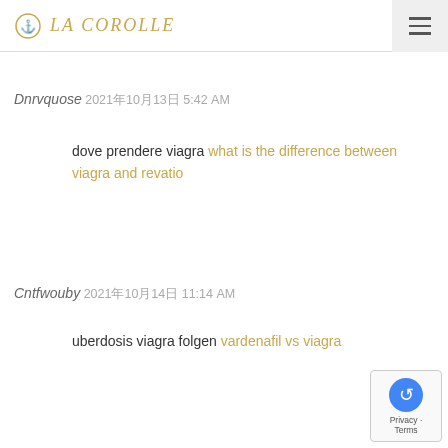LA COROLLE
Dnrvquose 2021年10月13日 5:42 AM
dove prendere viagra what is the difference between viagra and revatio
Cntfwouby 2021年10月14日 11:14 AM
uberdosis viagra folgen vardenafil vs viagra